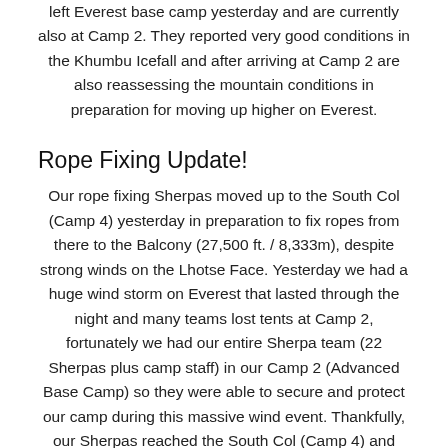left Everest base camp yesterday and are currently also at Camp 2. They reported very good conditions in the Khumbu Icefall and after arriving at Camp 2 are also reassessing the mountain conditions in preparation for moving up higher on Everest.
Rope Fixing Update!
Our rope fixing Sherpas moved up to the South Col (Camp 4) yesterday in preparation to fix ropes from there to the Balcony (27,500 ft. / 8,333m), despite strong winds on the Lhotse Face. Yesterday we had a huge wind storm on Everest that lasted through the night and many teams lost tents at Camp 2, fortunately we had our entire Sherpa team (22 Sherpas plus camp staff) in our Camp 2 (Advanced Base Camp) so they were able to secure and protect our camp during this massive wind event. Thankfully, our Sherpas reached the South Col (Camp 4) and established a camp there, and then commenced the